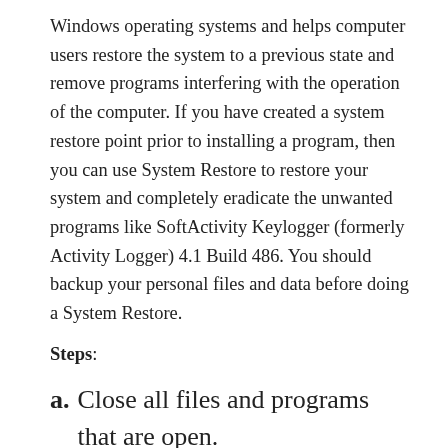Windows operating systems and helps computer users restore the system to a previous state and remove programs interfering with the operation of the computer. If you have created a system restore point prior to installing a program, then you can use System Restore to restore your system and completely eradicate the unwanted programs like SoftActivity Keylogger (formerly Activity Logger) 4.1 Build 486. You should backup your personal files and data before doing a System Restore.
Steps:
a. Close all files and programs that are open.
b. On the desktop, right-click...